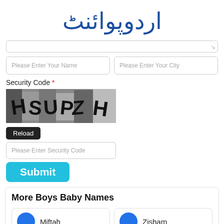[Figure (logo): Urdu Point website logo in blue Urdu calligraphy text]
[Figure (screenshot): Web form with text area (partially visible), name and city input fields, CAPTCHA security code image showing HSUPZH, Reload button, security code input, Submit button]
More Boys Baby Names
Miftah
Zisham
Haci
Tahir